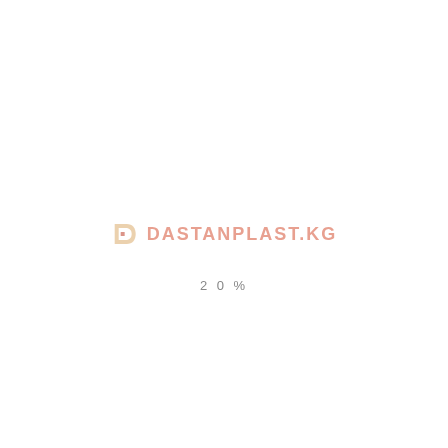[Figure (logo): DASTANPLAST.KG logo with a stylized D icon in orange/yellow and red tones, followed by the text DASTANPLAST.KG in pink/salmon bold uppercase letters]
20%